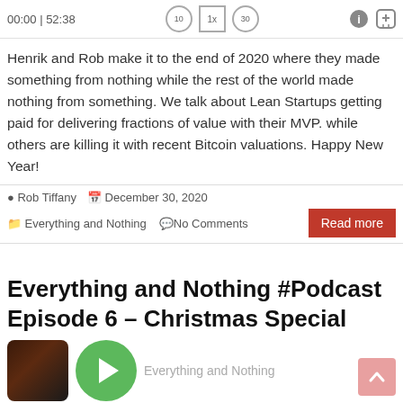[Figure (screenshot): Podcast player header bar showing time 00:00 | 52:38 with playback controls (rewind 10, 1x speed, forward 30) and info/share icons]
Henrik and Rob make it to the end of 2020 where they made something from nothing while the rest of the world made nothing from something. We talk about Lean Startups getting paid for delivering fractions of value with their MVP. while others are killing it with recent Bitcoin valuations. Happy New Year!
Rob Tiffany   December 30, 2020
Everything and Nothing   No Comments
Everything and Nothing #Podcast Episode 6 – Christmas Special
[Figure (screenshot): Podcast episode thumbnail showing dark background image and green play button circle, with 'Everything and Nothing' label text]